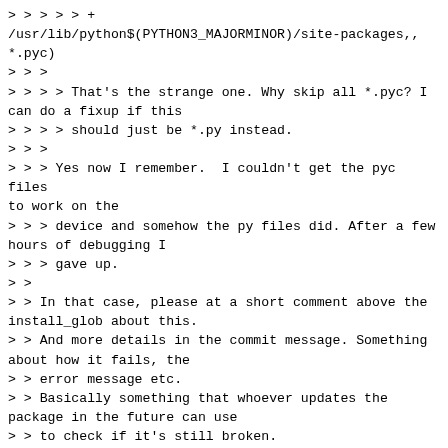> > > > > +
/usr/lib/python$(PYTHON3_MAJORMINOR)/site-packages,,
*.pyc)
> > >
> > > > That's the strange one. Why skip all *.pyc? I can do a fixup if this
> > > > should just be *.py instead.
> > >
> > > Yes now I remember.  I couldn't get the pyc files to work on the
> > > device and somehow the py files did. After a few hours of debugging I
> > > gave up.
> >
> > In that case, please at a short comment above the install_glob about this.
> > And more details in the commit message. Something about how it fails, the
> > error message etc.
> > Basically something that whoever updates the package in the future can use
> > to check if it's still broken.
> >
> > Michael
> >
>
> Okay I'll do a re-test and see if it still the case. Is it okay to
> resend a v3 for pysmp, or do I need to resend the entire patch series